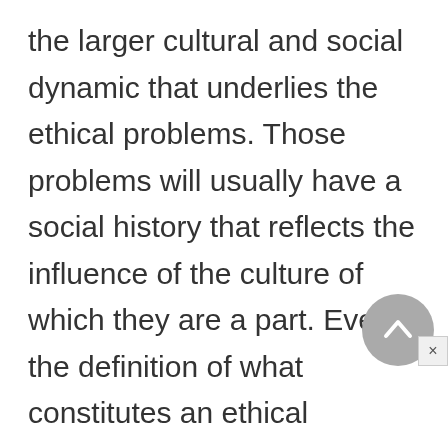the larger cultural and social dynamic that underlies the ethical problems. Those problems will usually have a social history that reflects the influence of the culture of which they are a part. Even the definition of what constitutes an ethical "problem" will show the force of cultural differences. Countries with strong paternalistic traditions may not consider it necessary to consult with patients about some kinds of decisions; they will not see the issue of patient choice or informed consent